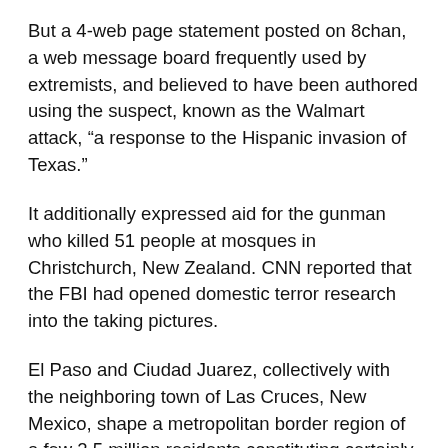But a 4-web page statement posted on 8chan, a web message board frequently used by extremists, and believed to have been authored using the suspect, known as the Walmart attack, “a response to the Hispanic invasion of Texas.”
It additionally expressed aid for the gunman who killed 51 people at mosques in Christchurch, New Zealand. CNN reported that the FBI had opened domestic terror research into the taking pictures.
El Paso and Ciudad Juarez, collectively with the neighboring town of Las Cruces, New Mexico, shape a metropolitan border region of a few 2.5 million residents constituting certainly one of the largest bilingual, bi-national populations within the Western Hemisphere.
Mexico’s President Andres Manuel Lopez Obrador said that Mexican nationals have been among the lifelong...